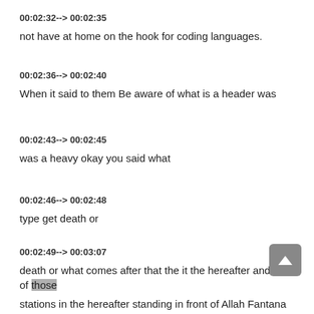00:02:32--> 00:02:35
not have at home on the hook for coding languages.
00:02:36--> 00:02:40
When it said to them Be aware of what is a header was
00:02:43--> 00:02:45
was a heavy okay you said what
00:02:46--> 00:02:48
type get death or
00:02:49--> 00:03:07
death or what comes after that the it the hereafter and all of those
stations in the hereafter standing in front of Allah Fantana that